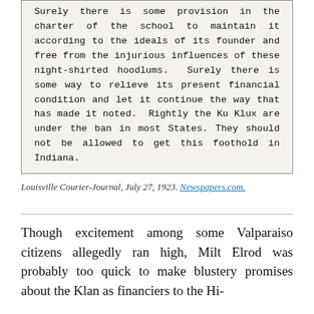[Figure (other): Newspaper clipping from Louisville Courier-Journal showing a column of typeset text about school charter provisions and Ku Klux Klan.]
Louisville Courier-Journal, July 27, 1923. Newspapers.com.
Though excitement among some Valparaiso citizens allegedly ran high, Milt Elrod was probably too quick to make blustery promises about the Klan as financiers to the Hi-